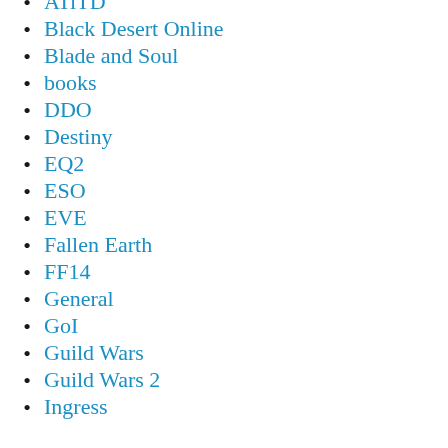ATiTD
Black Desert Online
Blade and Soul
books
DDO
Destiny
EQ2
ESO
EVE
Fallen Earth
FF14
General
GoI
Guild Wars
Guild Wars 2
Ingress